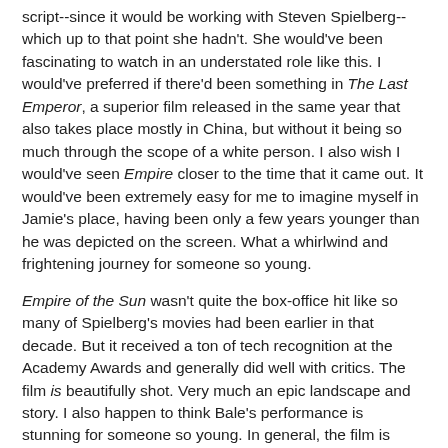script--since it would be working with Steven Spielberg--which up to that point she hadn't. She would've been fascinating to watch in an understated role like this. I would've preferred if there'd been something in The Last Emperor, a superior film released in the same year that also takes place mostly in China, but without it being so much through the scope of a white person. I also wish I would've seen Empire closer to the time that it came out. It would've been extremely easy for me to imagine myself in Jamie's place, having been only a few years younger than he was depicted on the screen. What a whirlwind and frightening journey for someone so young.
Empire of the Sun wasn't quite the box-office hit like so many of Spielberg's movies had been earlier in that decade. But it received a ton of tech recognition at the Academy Awards and generally did well with critics. The film is beautifully shot. Very much an epic landscape and story. I also happen to think Bale's performance is stunning for someone so young. In general, the film is finely acted, with Miranda Richard's (downsized undersized) performance no exception.